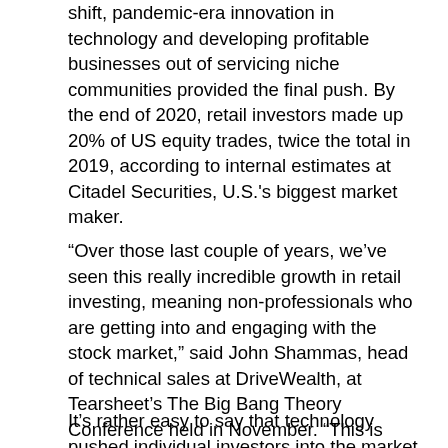shift, pandemic-era innovation in technology and developing profitable businesses out of servicing niche communities provided the final push. By the end of 2020, retail investors made up 20% of US equity trades, twice the total in 2019, according to internal estimates at Citadel Securities, U.S.'s biggest market maker.
“Over those last couple of years, we’ve seen this really incredible growth in retail investing, meaning non-professionals who are getting into and engaging with the stock market,” said John Shammas, head of technical sales at DriveWealth, at Tearsheet’s The Big Bang Theory Conference held in November. “This is actually occurring all over the world, and isn’t just specific to the U.S.”
It’s rather easy to say that technology pushed individual investors into the market. However,